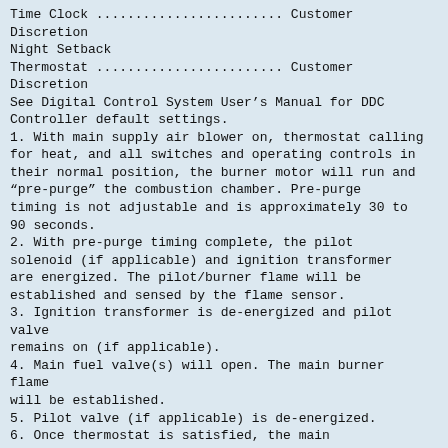Time Clock ........................ Customer Discretion
Night Setback
Thermostat ........................ Customer Discretion
See Digital Control System User’s Manual for DDC
Controller default settings.
1. With main supply air blower on, thermostat calling
for heat, and all switches and operating controls in
their normal position, the burner motor will run and
“pre-purge” the combustion chamber. Pre-purge
timing is not adjustable and is approximately 30 to
90 seconds.
2. With pre-purge timing complete, the pilot
solenoid (if applicable) and ignition transformer
are energized. The pilot/burner flame will be
established and sensed by the flame sensor.
3. Ignition transformer is de-energized and pilot
valve
remains on (if applicable).
4. Main fuel valve(s) will open. The main burner
flame
will be established.
5. Pilot valve (if applicable) is de-energized.
6. Once thermostat is satisfied, the main
fuel valves(s), and burner motor will be
de-energized. Main supply air blower will
continue to run.
- 12 -
SECTION V - UNIT START-UP
A. PURPOSE
Check the incoming line voltage to match unit
nameplate rating. If voltage is over + 10% of
nameplate
rating or phase voltage unbalance is over 2%, notify